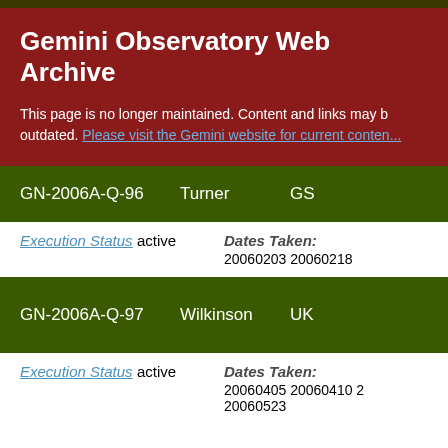Gemini Observatory Web Archive
This page is no longer maintained. Content and links may be outdated. Please visit the Gemini website for current content.
| Program ID | PI | Instrument |
| --- | --- | --- |
| GN-2006A-Q-96 | Turner | GS |
| GN-2006A-Q-97 | Wilkinson | UK |
Execution Status active   Dates Taken: 20060203 20060218
Execution Status active   Dates Taken: 20060405 20060410 20060523